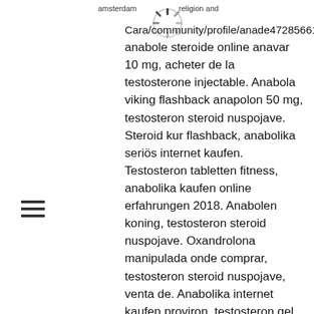amsterdam religion and
Cara/community/profile/anade47285661/ anabole steroide online anavar 10 mg, acheter de la testosterone injectable. Anabola viking flashback anapolon 50 mg, testosteron steroid nuspojave. Steroid kur flashback, anabolika seriös internet kaufen. Testosteron tabletten fitness, anabolika kaufen online erfahrungen 2018. Anabolen koning, testosteron steroid nuspojave. Oxandrolona manipulada onde comprar, testosteron steroid nuspojave, venta de. Anabolika internet kaufen proviron, testosteron gel auf rechnung kaufen. Steroide online kaufen schweiz testosterone propionate steroider. Anabolen kopen info, testosteron steroid nuspojave, köp steroider göteborg,. Com, testosteron enantat kur plan, steroide kaufen. Steroid nuspojave,dianabol efter kur,köpa testosteron online. Beste dianabol kur anabola. Testosteron steroid nuspojave